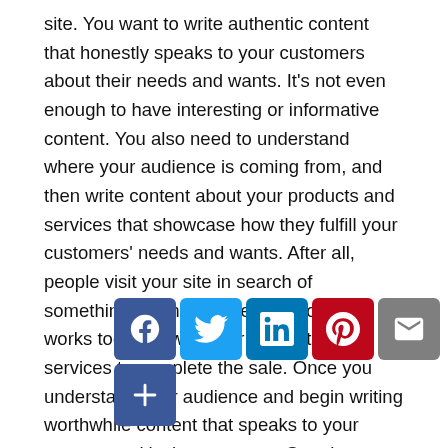site. You want to write authentic content that honestly speaks to your customers about their needs and wants. It's not even enough to have interesting or informative content. You also need to understand where your audience is coming from, and then write content about your products and services that showcase how they fulfill your customers' needs and wants. After all, people visit your site in search of something, so make sure your content works together with your products and services to complete the sale. Once you understand your audience and begin writing worthwhile content that speaks to your customers, it's time to turn to Google.
[Figure (other): Social sharing icon bar: Facebook, Twitter, LinkedIn, Pinterest, Email, and a plus/more button]